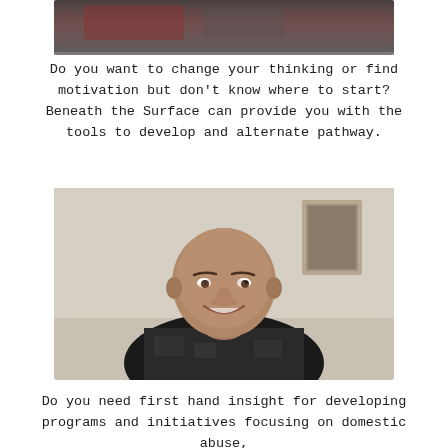[Figure (photo): Partial top portion of a blurred photograph, showing dark and reddish tones, likely the top of the previous photo on this page.]
Do you want to change your thinking or find motivation but don't know where to start? Beneath the Surface can provide you with the tools to develop and alternate pathway.
[Figure (photo): A smiling bald man wearing a dark patterned shirt, seated indoors in front of a light-colored wall with a framed picture in the background.]
Do you need first hand insight for developing programs and initiatives focusing on domestic abuse,